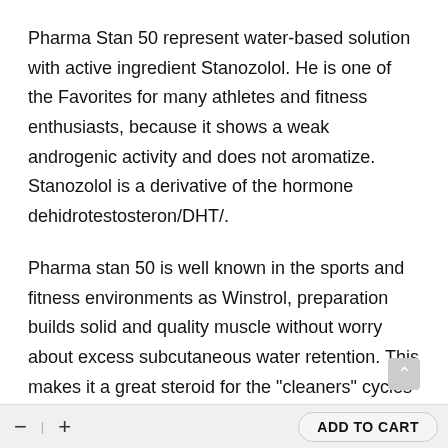Pharma Stan 50 represent water-based solution with active ingredient Stanozolol. He is one of the Favorites for many athletes and fitness enthusiasts, because it shows a weak androgenic activity and does not aromatize. Stanozolol is a derivative of the hormone dehidrotestosteron/DHT/.
Pharma stan 50 is well known in the sports and fitness environments as Winstrol, preparation builds solid and quality muscle without worry about excess subcutaneous water retention. This makes it a great steroid for the "cleaners" cycles when water retention should be minimal, to lose fat while retaining muscle mass. Important information: Winstrol Pharmacom real easy to recognize when the ampoule is left to stand at rest a few hours: the aqueous suspension is separated